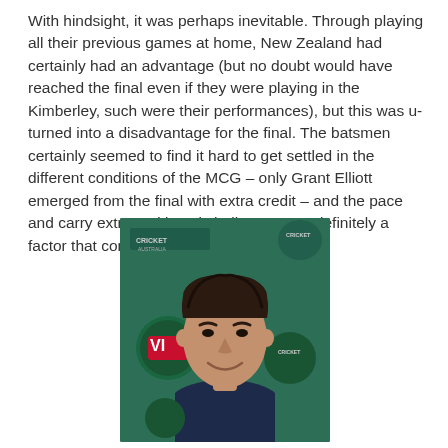With hindsight, it was perhaps inevitable. Through playing all their previous games at home, New Zealand had certainly had an advantage (but no doubt would have reached the final even if they were playing in the Kimberley, such were their performances), but this was u-turned into a disadvantage for the final. The batsmen certainly seemed to find it hard to get settled in the different conditions of the MCG – only Grant Elliott emerged from the final with extra credit – and the pace and carry extracted by Mitchell Starc was definitely a factor that contributed to their terrible start.
[Figure (photo): Portrait photo of Mitchell Starc smiling, wearing a dark navy polo shirt, posed in front of a green Cricket Australia branded backdrop with VB (Victoria Bitter) and other sponsor logos visible.]